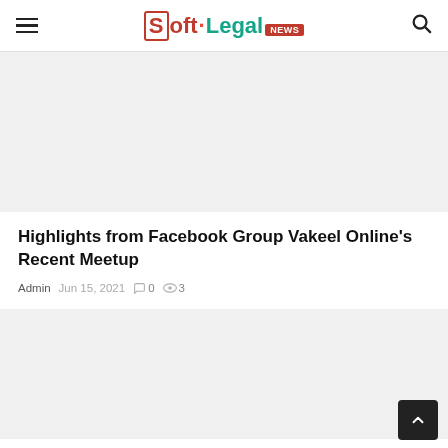Soft.Legal NEWS
[Figure (photo): Top image placeholder, light gray background]
Highlights from Facebook Group Vakeel Online's Recent Meetup
Admin  Jun 15, 2021  0  3
[Figure (photo): Bottom image placeholder, light gray background]